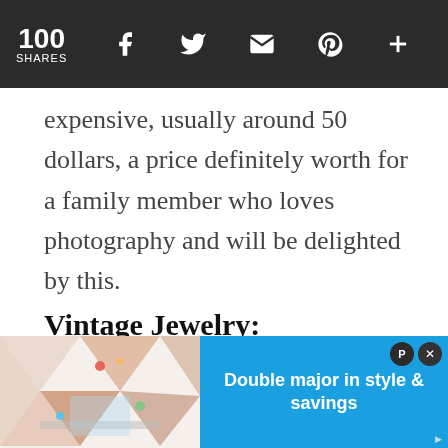100 SHARES [facebook] [twitter] [email] [pinterest] [more]
expensive, usually around 50 dollars, a price definitely worth for a family member who loves photography and will be delighted by this.
Vintage Jewelry:
[Figure (photo): Vintage clock face and antique key on white fabric background]
[Figure (infographic): Advertisement overlay: geometric pattern on left, blue panel on right with text 'Double major in style & savings']